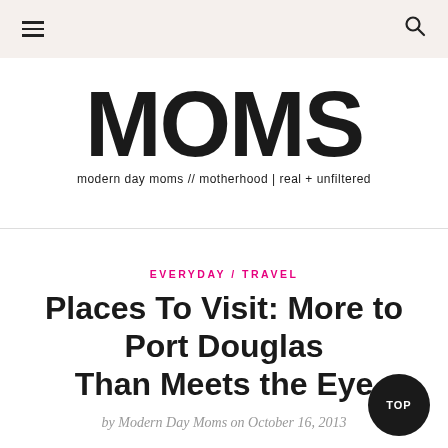≡  [hamburger menu icon]  |  [search icon]
[Figure (logo): Modern Day Moms logo: large bold 'MOMS' text with tagline 'modern day moms // motherhood | real + unfiltered']
EVERYDAY / TRAVEL
Places To Visit: More to Port Douglas Than Meets the Eye
by Modern Day Moms on October 16, 2013